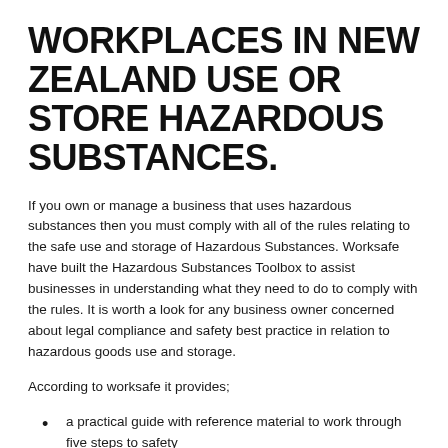WORKPLACES IN NEW ZEALAND USE OR STORE HAZARDOUS SUBSTANCES.
If you own or manage a business that uses hazardous substances then you must comply with all of the rules relating to the safe use and storage of Hazardous Substances. Worksafe have built the Hazardous Substances Toolbox to assist businesses in understanding what they need to do to comply with the rules. It is worth a look for any business owner concerned about legal compliance and safety best practice in relation to hazardous goods use and storage.
According to worksafe it provides;
a practical guide with reference material to work through five steps to safety
an emergency response flipchart
a workbook with templates and instructions for